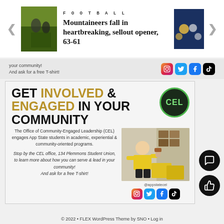[Figure (screenshot): Top navigation banner showing a football article: 'FOOTBALL - Mountaineers fall in heartbreaking, sellout opener, 63-61' with left sports action photo and right crowd photo, flanked by navigation arrows]
your community!
And ask for a free T-shirt!
[Figure (screenshot): Social media icons: Instagram, Twitter, Facebook, TikTok]
[Figure (infographic): CEL advertisement: GET INVOLVED & ENGAGED IN YOUR COMMUNITY. The Office of Community-Engaged Leadership (CEL) engages App State students in academic, experiential & community-oriented programs. Stop by the CEL office, 134 Plemmons Student Union, to learn more about how you can serve & lead in your community! And ask for a free T-shirt! @appstatecel with social media icons and CEL logo badge. Photo of student in yellow shirt at food bank.]
© 2022 • FLEX WordPress Theme by SNO • Log in